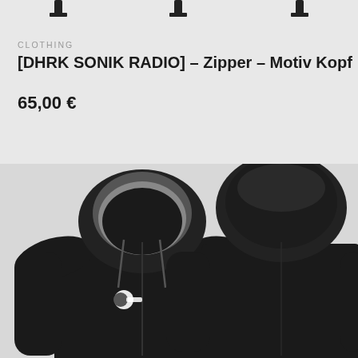[Figure (photo): Top portion of product page showing partial view of hanging clothing items (hangers visible at top edge) against light gray background]
CLOTHING
[DHRK SONIK RADIO] – Zipper – Motiv Kopf
65,00 €
[Figure (photo): Two black zip-up hoodies shown front and back view. The front hoodie has a small Sonik Radio logo/patch on the chest. Both hoodies are black with hood up, displayed against a light gray background.]